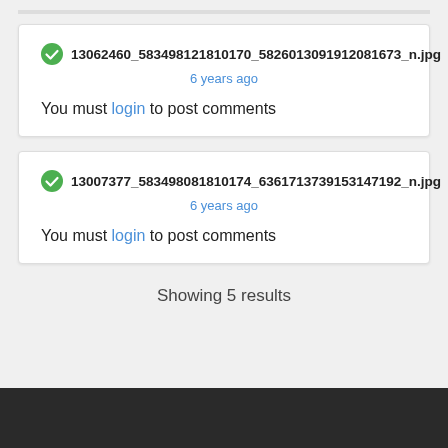13062460_583498121810170_5826013091912081673_n.jpg
6 years ago
You must login to post comments
13007377_583498081810174_6361713739153147192_n.jpg
6 years ago
You must login to post comments
Showing 5 results